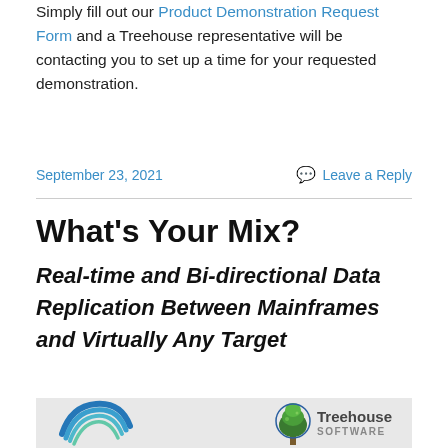Simply fill out our Product Demonstration Request Form and a Treehouse representative will be contacting you to set up a time for your requested demonstration.
September 23, 2021
Leave a Reply
What's Your Mix?
Real-time and Bi-directional Data Replication Between Mainframes and Virtually Any Target
[Figure (logo): Treehouse Software logo with stylized concentric arcs on the left and a tree icon with 'Treehouse SOFTWARE' text on the right, on a light grey background.]